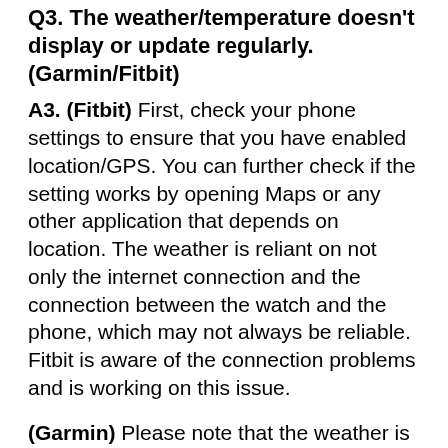Q3.  The weather/temperature doesn't display or update regularly.  (Garmin/Fitbit)
A3.  (Fitbit) First, check your phone settings to ensure that you have enabled location/GPS.  You can further check if the setting works by opening Maps or any other application that depends on location.  The weather is reliant on not only the internet connection and the connection between the watch and the phone, which may not always be reliable.  Fitbit is aware of the connection problems and is working on this issue.
(Garmin)  Please note that the weather is retrieved using your location, which is taken from your last